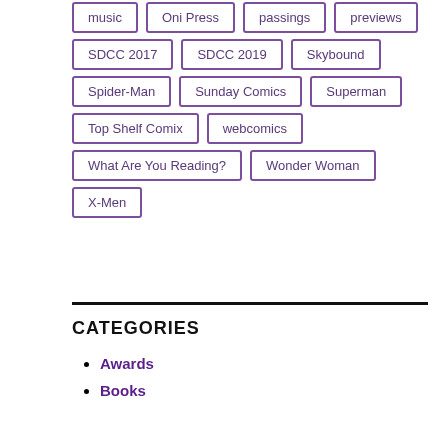music
Oni Press
passings
previews
SDCC 2017
SDCC 2019
Skybound
Spider-Man
Sunday Comics
Superman
Top Shelf Comix
webcomics
What Are You Reading?
Wonder Woman
X-Men
CATEGORIES
Awards
Books